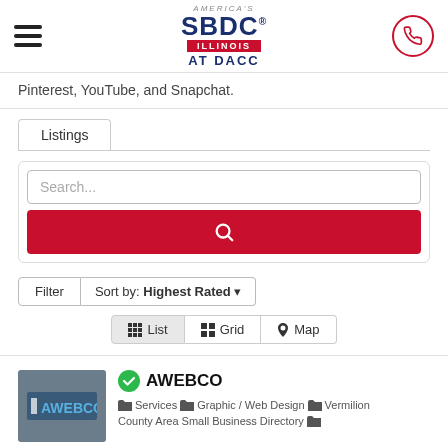America's SBDC Illinois AT DACC
Pinterest, YouTube, and Snapchat.
Listings
[Figure (screenshot): Search input box with placeholder text 'Search...' and a red search button below]
Filter  Sort by: Highest Rated
List  Grid  Map
AWEBCO — Services, Graphic / Web Design, Vermilion County Area Small Business Directory